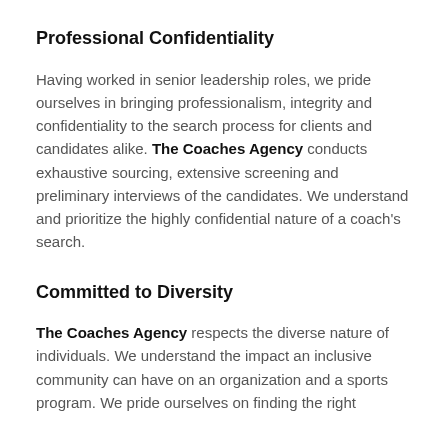Professional Confidentiality
Having worked in senior leadership roles, we pride ourselves in bringing professionalism, integrity and confidentiality to the search process for clients and candidates alike. The Coaches Agency conducts exhaustive sourcing, extensive screening and preliminary interviews of the candidates. We understand and prioritize the highly confidential nature of a coach's search.
Committed to Diversity
The Coaches Agency respects the diverse nature of individuals. We understand the impact an inclusive community can have on an organization and a sports program. We pride ourselves on finding the right